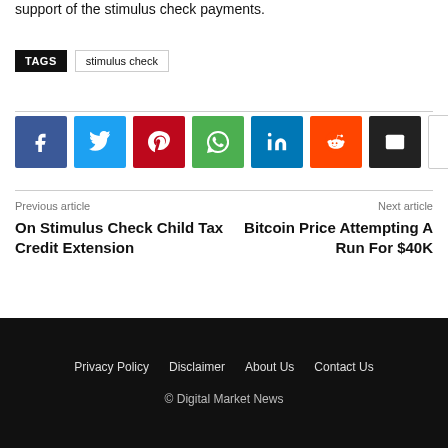support of the stimulus check payments.
TAGS  stimulus check
[Figure (other): Social sharing buttons: Facebook, Twitter, Pinterest, WhatsApp, LinkedIn, Reddit, Email, More]
Previous article
On Stimulus Check Child Tax Credit Extension
Next article
Bitcoin Price Attempting A Run For $40K
Privacy Policy  Disclaimer  About Us  Contact Us  © Digital Market News